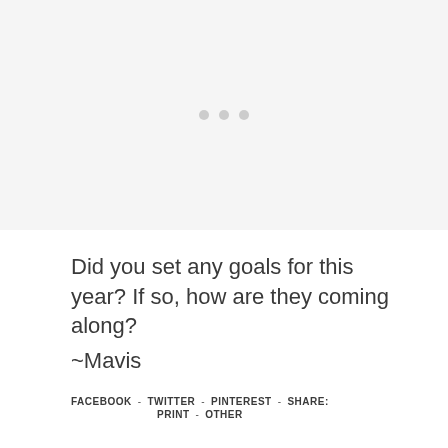[Figure (other): Light grey rectangular area with three small grey dots centered, resembling a loading or placeholder image area]
Did you set any goals for this year? If so, how are they coming along?
~Mavis
FACEBOOK - TWITTER - PINTEREST - SHARE: PRINT - OTHER